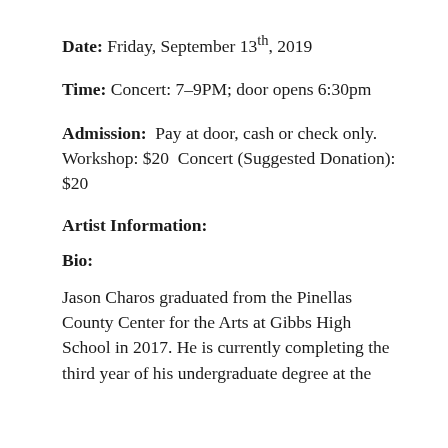Date: Friday, September 13th, 2019
Time: Concert: 7-9PM; door opens 6:30pm
Admission: Pay at door, cash or check only. Workshop: $20  Concert (Suggested Donation): $20
Artist Information:
Bio:
Jason Charos graduated from the Pinellas County Center for the Arts at Gibbs High School in 2017. He is currently completing the third year of his undergraduate degree at the